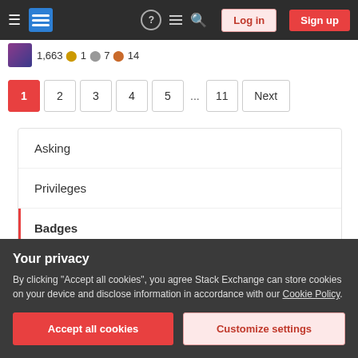Stack Exchange navigation bar with Log in and Sign up buttons
1,663 ● 1 ◉ 7 ◉ 14
1 2 3 4 5 ... 11 Next
Asking
Privileges
Badges
Our model
Reputation & Moderation
Your privacy
By clicking "Accept all cookies", you agree Stack Exchange can store cookies on your device and disclose information in accordance with our Cookie Policy.
Accept all cookies   Customize settings